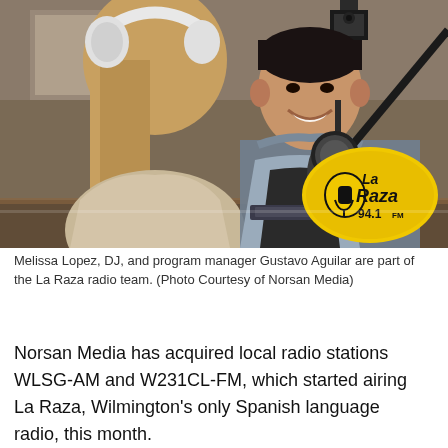[Figure (photo): Melissa Lopez, DJ wearing white headphones, and program manager Gustavo Aguilar smiling, in a radio studio with a microphone and La Raza 94.1 FM logo visible in the lower right corner.]
Melissa Lopez, DJ, and program manager Gustavo Aguilar are part of the La Raza radio team. (Photo Courtesy of Norsan Media)
Norsan Media has acquired local radio stations WLSG-AM and W231CL-FM, which started airing La Raza, Wilmington's only Spanish language radio, this month.